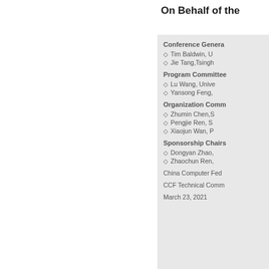On Behalf of the
Conference Genera
Tim Baldwin, U
Jie Tang, Tsingh
Program Committee
Lu Wang, Unive
Yansong Feng,
Organization Comm
Zhumin Chen, S
Pengjie Ren, S
Xiaojun Wan, P
Sponsorship Chairs
Dongyan Zhao,
Zhaochun Ren,
China Computer Fed
CCF Technical Comm
March 23, 2021